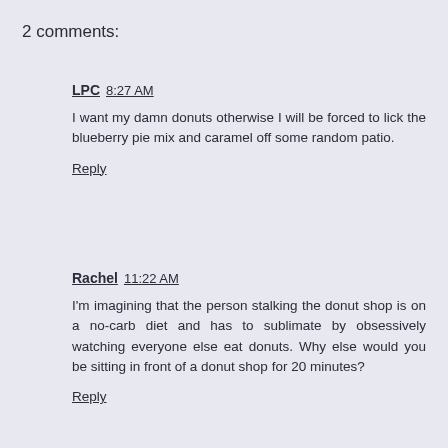2 comments:
LPC  8:27 AM
I want my damn donuts otherwise I will be forced to lick the blueberry pie mix and caramel off some random patio.
Reply
Rachel  11:22 AM
I'm imagining that the person stalking the donut shop is on a no-carb diet and has to sublimate by obsessively watching everyone else eat donuts. Why else would you be sitting in front of a donut shop for 20 minutes?
Reply